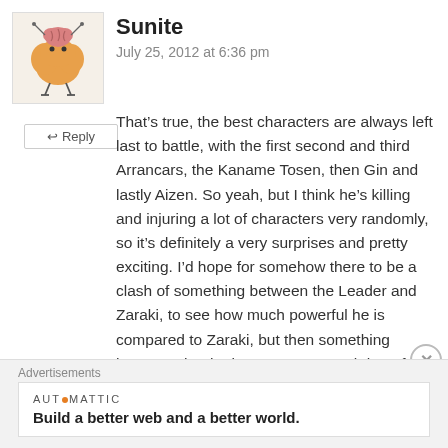[Figure (illustration): Avatar image of a cartoon brain-like creature with orange blob body and stick legs, on a light beige background]
Sunite
July 25, 2012 at 6:36 pm
That’s true, the best characters are always left last to battle, with the first second and third Arrancars, the Kaname Tosen, then Gin and lastly Aizen. So yeah, but I think he’s killing and injuring a lot of characters very randomly, so it’s definitely a very surprises and pretty exciting. I’d hope for somehow there to be a clash of something between the Leader and Zaraki, to see how much powerful he is compared to Zaraki, but then something happens that he has to go.. so yeah hopefully there’s a change to
Advertisements
AUTOMATTIC
Build a better web and a better world.